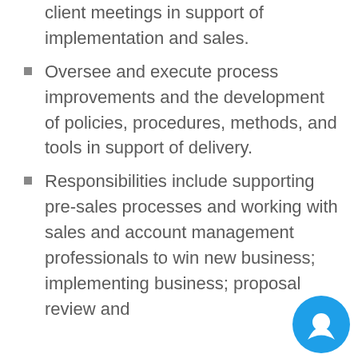client meetings in support of implementation and sales.
Oversee and execute process improvements and the development of policies, procedures, methods, and tools in support of delivery.
Responsibilities include supporting pre-sales processes and working with sales and account management professionals to win new business; implementing business; proposal review and